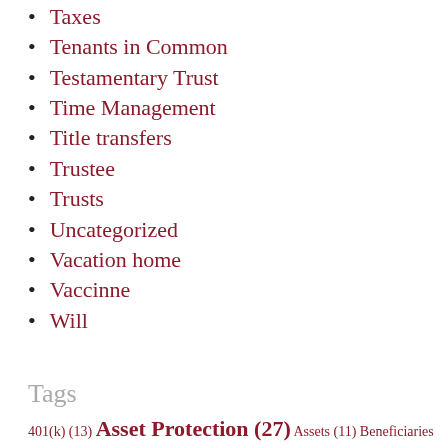Taxes
Tenants in Common
Testamentary Trust
Time Management
Title transfers
Trustee
Trusts
Uncategorized
Vacation home
Vaccinne
Will
Tags
401(k) (13) Asset Protection (27) Assets (11) Beneficiaries